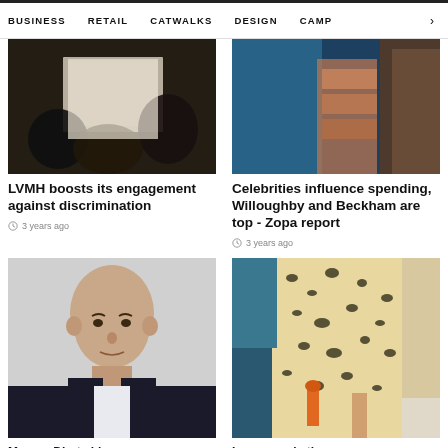BUSINESS   RETAIL   CATWALKS   DESIGN   CAMP >
[Figure (photo): People at an event, holding white framed items, dark background]
LVMH boosts its engagement against discrimination
3 years ago
[Figure (photo): Close-up of fashion items, denim and patterned clothing, accessories]
Celebrities influence spending, Willoughby and Beckham are top - Zopa report
3 years ago
[Figure (photo): Portrait of a bald man in a dark suit with white shirt]
[Figure (photo): Fashion runway photo showing leopard print dress detail with orange accessory]
Marcus Dirat...his...
Luxury and...tion...